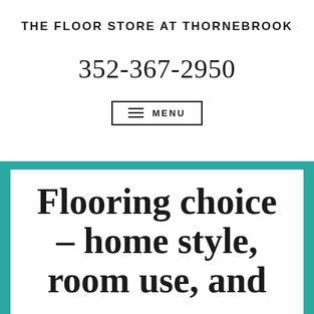THE FLOOR STORE AT THORNEBROOK
352-367-2950
MENU
Flooring choice – home style, room use, and